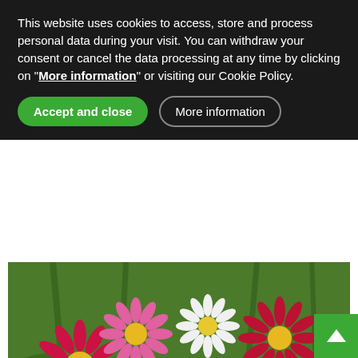This website uses cookies to access, store and process personal data during your visit. You can withdraw your consent or cancel the data processing at any time by clicking on "More information" or visiting our Cookie Policy.
Accept and close
More information
[Figure (photo): Close-up photo of pink and red daisy-like flowers with yellow centers, and white flowers in the background, among green stems and leaves.]
Medicinal plants for spoon-shaped nails
[Figure (other): Light green/grey rectangular area at the bottom of the page, partially visible, with a green scroll-to-top button in the lower right corner.]